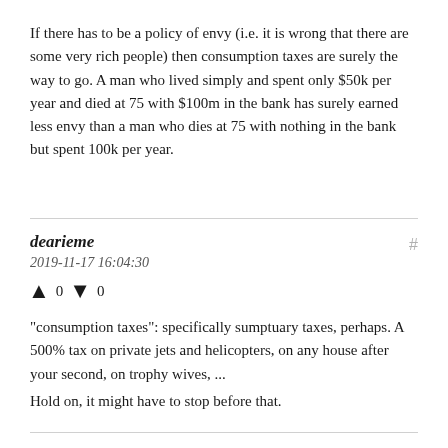If there has to be a policy of envy (i.e. it is wrong that there are some very rich people) then consumption taxes are surely the way to go. A man who lived simply and spent only $50k per year and died at 75 with $100m in the bank has surely earned less envy than a man who dies at 75 with nothing in the bank but spent 100k per year.
dearieme
2019-11-17 16:04:30
↑ 0 ↓ 0
"consumption taxes": specifically sumptuary taxes, perhaps. A 500% tax on private jets and helicopters, on any house after your second, on trophy wives, ...
Hold on, it might have to stop before that.